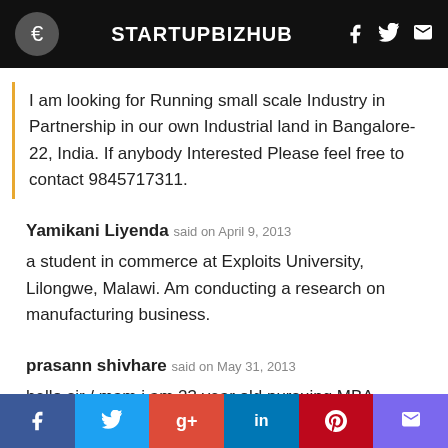STARTUPBIZHUB
I am looking for Running small scale Industry in Partnership in our own Industrial land in Bangalore-22, India. If anybody Interested Please feel free to contact 9845717311.
Yamikani Liyenda said on April 9, 2013
a student in commerce at Exploits University, Lilongwe, Malawi. Am conducting a research on manufacturing business.
prasann shivhare said on May 31, 2013
hello sir / mam i am 23 year old pursuing MBA from Pune a... rt a